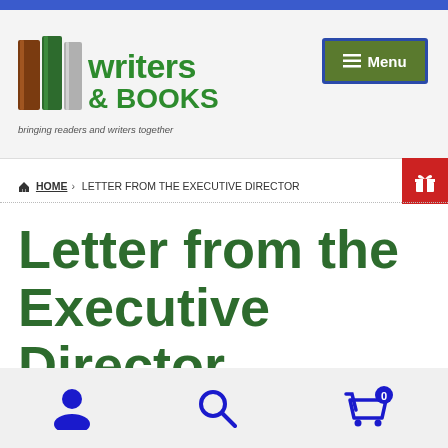[Figure (logo): Writers & Books logo with books icon and tagline 'bringing readers and writers together']
[Figure (screenshot): Menu button (hamburger icon) with dark green background and blue border]
[Figure (other): Red gift icon tab on right side]
HOME > LETTER FROM THE EXECUTIVE DIRECTOR
Letter from the Executive Director
[Figure (other): Bottom navigation bar with person/account icon, search icon, and cart icon with 0 badge]